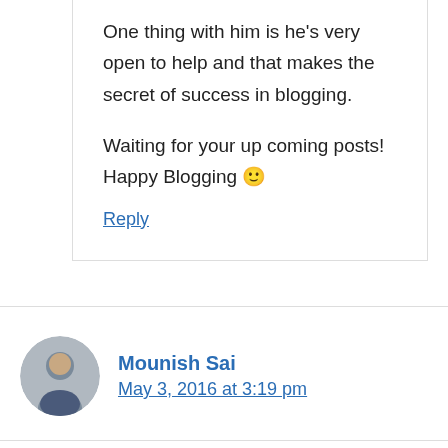One thing with him is he's very open to help and that makes the secret of success in blogging.

Waiting for your up coming posts! Happy Blogging 🙂
Reply
Mounish Sai
May 3, 2016 at 3:19 pm